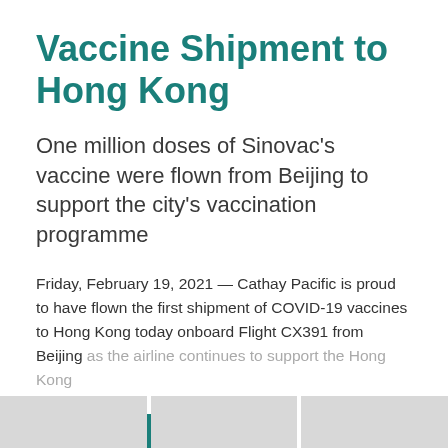Vaccine Shipment to Hong Kong
One million doses of Sinovac's vaccine were flown from Beijing to support the city's vaccination programme
Friday, February 19, 2021 — Cathay Pacific is proud to have flown the first shipment of COVID-19 vaccines to Hong Kong today onboard Flight CX391 from Beijing as the airline continues to support the Hong Kong
Read more
[Figure (other): Three gray placeholder card thumbnails at the bottom of the page]